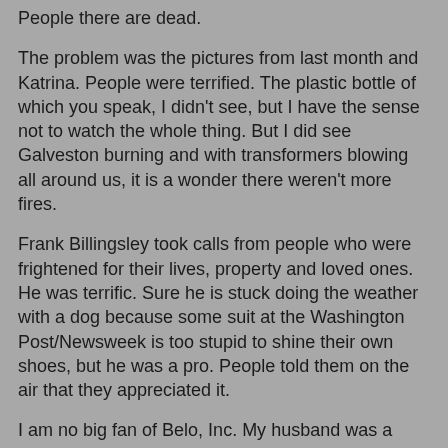People there are dead.
The problem was the pictures from last month and Katrina. People were terrified. The plastic bottle of which you speak, I didn't see, but I have the sense not to watch the whole thing. But I did see Galveston burning and with transformers blowing all around us, it is a wonder there weren't more fires.
Frank Billingsley took calls from people who were frightened for their lives, property and loved ones. He was terrific. Sure he is stuck doing the weather with a dog because some suit at the Washington Post/Newsweek is too stupid to shine their own shoes, but he was a pro. People told them on the air that they appreciated it.
I am no big fan of Belo, Inc. My husband was a plaintiff in the largest libel lawsuit in American history (Feazell et. al v. A.H. Belo, Inc.)a former weather man and one amazing press secretary. We know media and Doc Neil did a great job. He can't rip and read because Congress has slashed funding to NWS and there forecasting capabilities are terrible. Commercial weather forecasters are better and they told oil